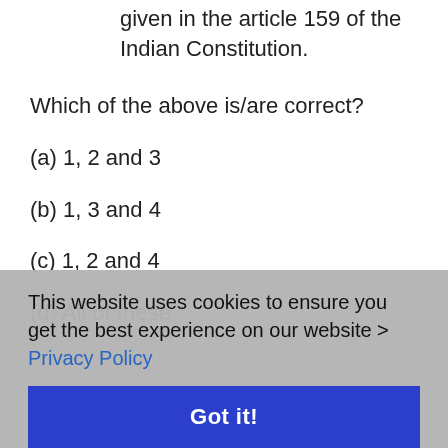given in the article 159 of the Indian Constitution.
Which of the above is/are correct?
(a) 1, 2 and 3
(b) 1, 3 and 4
(c) 1, 2 and 4
(d) All of these
This website uses cookies to ensure you get the best experience on our website > Privacy Policy
Got it!